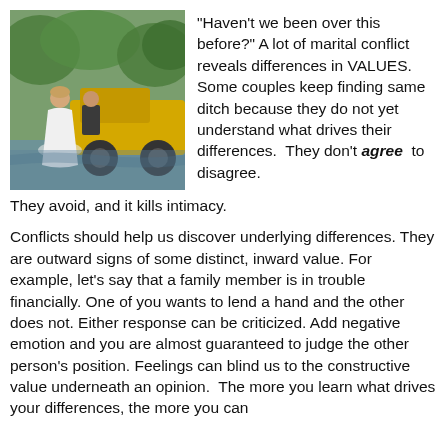[Figure (photo): A bride in a white dress and groom in a suit crouching near a yellow vehicle stuck in water, with green trees in the background.]
“Haven’t we been over this before?” A lot of marital conflict reveals differences in VALUES. Some couples keep finding same ditch because they do not yet understand what drives their differences. They don’t agree to disagree. They avoid, and it kills intimacy.
Conflicts should help us discover underlying differences. They are outward signs of some distinct, inward value. For example, let’s say that a family member is in trouble financially. One of you wants to lend a hand and the other does not. Either response can be criticized. Add negative emotion and you are almost guaranteed to judge the other person’s position. Feelings can blind us to the constructive value underneath an opinion. The more you learn what drives your differences, the more you can